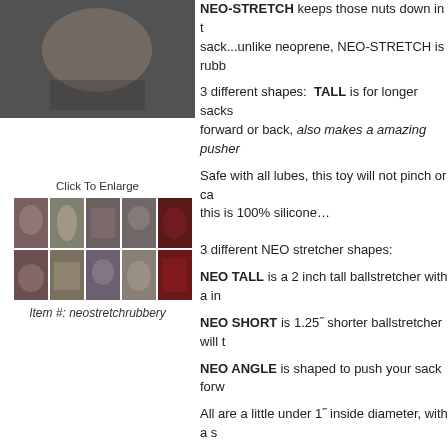[Figure (photo): Main product photo showing a person]
Click To Enlarge
[Figure (photo): Grid of 10 thumbnail product/usage images]
Item #: neostretchrubbery
NEO-STRETCH keeps those nuts down in the sack...unlike neoprene, NEO-STRETCH is rubb
3 different shapes: TALL is for longer sacks forward or back, also makes a amazing pusher
Safe with all lubes, this toy will not pinch or ca this is 100% silicone…
3 different NEO stretcher shapes:
NEO TALL is a 2 inch tall ballstretcher with a in
NEO SHORT is 1.25" shorter ballstretcher will t
NEO ANGLE is shaped to push your sack forw
All are a little under 1" inside diameter, with a s
COLORS:
BLACK, RED, BLUEBALLS
Info:
Made in USA…design copyright OXBALLS